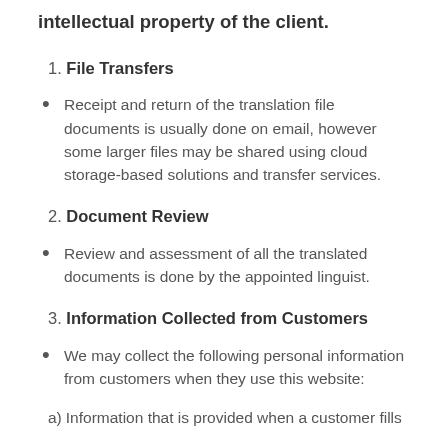intellectual property of the client.
1. File Transfers
Receipt and return of the translation file documents is usually done on email, however some larger files may be shared using cloud storage-based solutions and transfer services.
2. Document Review
Review and assessment of all the translated documents is done by the appointed linguist.
3. Information Collected from Customers
We may collect the following personal information from customers when they use this website:
a) Information that is provided when a customer fills